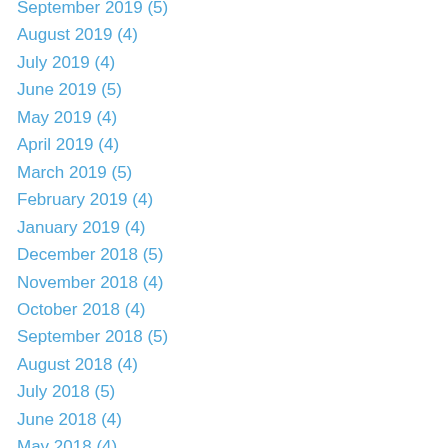September 2019 (5)
August 2019 (4)
July 2019 (4)
June 2019 (5)
May 2019 (4)
April 2019 (4)
March 2019 (5)
February 2019 (4)
January 2019 (4)
December 2018 (5)
November 2018 (4)
October 2018 (4)
September 2018 (5)
August 2018 (4)
July 2018 (5)
June 2018 (4)
May 2018 (4)
April 2018 (5)
March 2018 (3)
February 2018 (4)